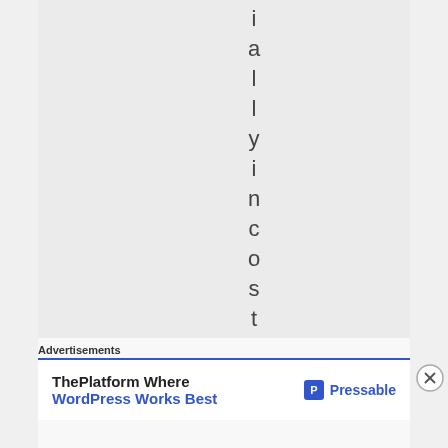[Figure (other): Vertically arranged letters spelling 'ciallyincostu' stacked top to bottom, one letter per line, centered on a light gray background]
Advertisements
[Figure (other): Advertisement banner: 'ThePlatform Where WordPress Works Best' with Pressable logo on right]